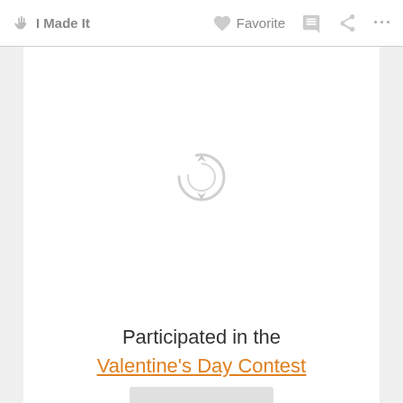I Made It   Favorite   ...
[Figure (illustration): Loading spinner icon (circular arrows) in light gray, centered in the white content panel]
Participated in the
Valentine's Day Contest